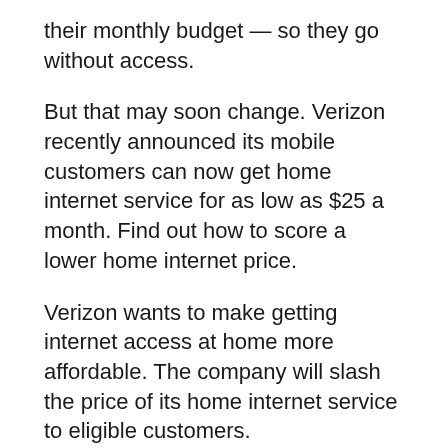their monthly budget — so they go without access.
But that may soon change. Verizon recently announced its mobile customers can now get home internet service for as low as $25 a month. Find out how to score a lower home internet price.
Verizon wants to make getting internet access at home more affordable. The company will slash the price of its home internet service to eligible customers.
Pricing will begin at $25 per month. There will be no additional equipment charges, extra fees, or annual contracts.